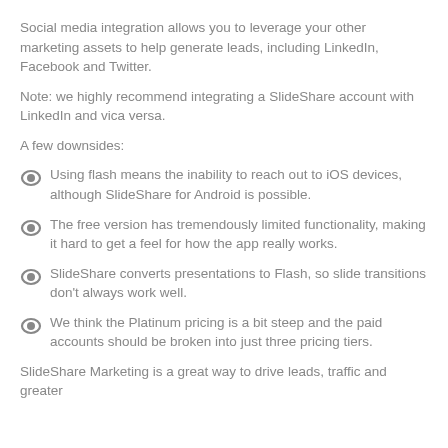Social media integration allows you to leverage your other marketing assets to help generate leads, including LinkedIn, Facebook and Twitter.
Note: we highly recommend integrating a SlideShare account with LinkedIn and vica versa.
A few downsides:
Using flash means the inability to reach out to iOS devices, although SlideShare for Android is possible.
The free version has tremendously limited functionality, making it hard to get a feel for how the app really works.
SlideShare converts presentations to Flash, so slide transitions don't always work well.
We think the Platinum pricing is a bit steep and the paid accounts should be broken into just three pricing tiers.
SlideShare Marketing is a great way to drive leads, traffic and greater